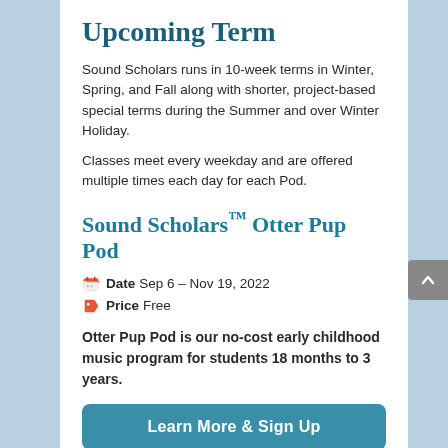Upcoming Term
Sound Scholars runs in 10-week terms in Winter, Spring, and Fall along with shorter, project-based special terms during the Summer and over Winter Holiday.
Classes meet every weekday and are offered multiple times each day for each Pod.
Sound Scholars™ Otter Pup Pod
Date Sep 6 – Nov 19, 2022
Price Free
Otter Pup Pod is our no-cost early childhood music program for students 18 months to 3 years.
Learn More & Sign Up